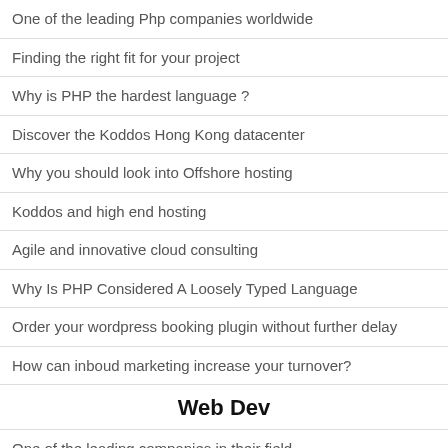One of the leading Php companies worldwide
Finding the right fit for your project
Why is PHP the hardest language ?
Discover the Koddos Hong Kong datacenter
Why you should look into Offshore hosting
Koddos and high end hosting
Agile and innovative cloud consulting
Why Is PHP Considered A Loosely Typed Language
Order your wordpress booking plugin without further delay
How can inboud marketing increase your turnover?
Web Dev
One of the leading companies in their field
How to find a laravel development company
Why using a VPS ?
What is the difference between ruby and php?
Programmation : les erreurs à ne jamais commettre lors du...
Développer son propre outil en php pour détecter le